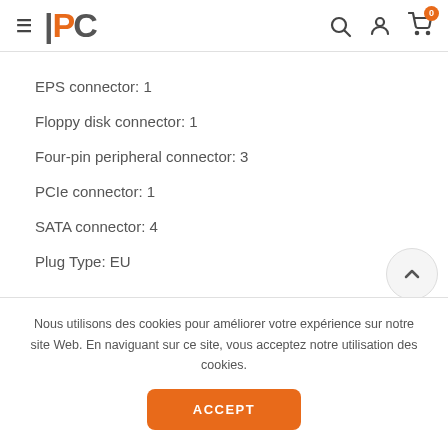PC [logo] | Search | Account | Cart (0)
EPS connector: 1
Floppy disk connector: 1
Four-pin peripheral connector: 3
PCIe connector: 1
SATA connector: 4
Plug Type: EU
Nous utilisons des cookies pour améliorer votre expérience sur notre site Web. En naviguant sur ce site, vous acceptez notre utilisation des cookies.
ACCEPT